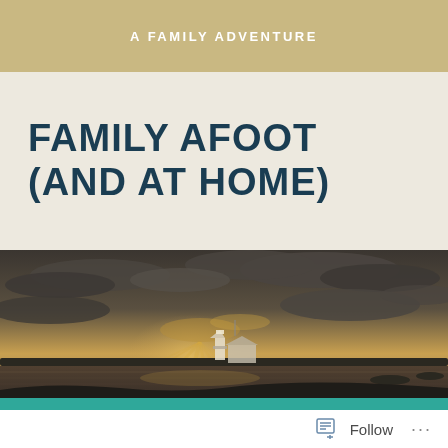A FAMILY ADVENTURE
FAMILY AFOOT (AND AT HOME)
[Figure (photo): A coastal sunset scene showing a lighthouse and small building on a low island across calm water, with dramatic rays of light breaking through dark storm clouds in a golden sky.]
LOCATION
Follow ...